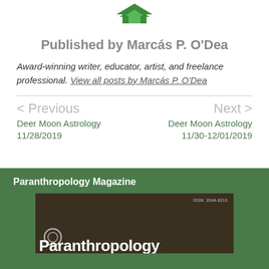[Figure (logo): Green geometric logo/icon at top center]
Published by Marcás P. O'Dea
Award-winning writer, educator, artist, and freelance professional. View all posts by Marcás P. O'Dea
< Previous
Next >
Deer Moon Astrology 11/28/2019
Deer Moon Astrology 11/30-12/01/2019
Paranthropology Magazine
[Figure (photo): Cover of Paranthropology Magazine showing dark background with twigs, ISSN 2044-8210, circular symbol, and magazine title text]